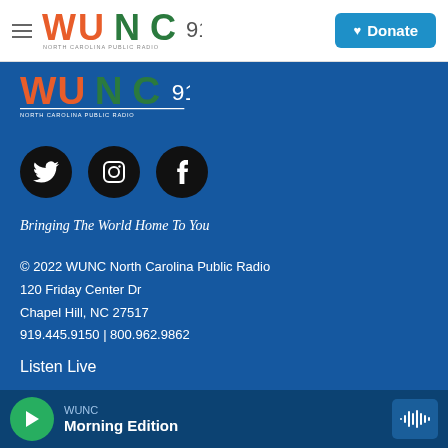WUNC 91.5 North Carolina Public Radio — navigation bar with Donate button
[Figure (logo): WUNC 91.5 logo with 'NORTH CAROLINA PUBLIC RADIO' subtitle, repeated in blue section]
[Figure (infographic): Three social media icons (Twitter, Instagram, Facebook) as white icons on black circles]
Bringing The World Home To You
© 2022 WUNC North Carolina Public Radio
120 Friday Center Dr
Chapel Hill, NC 27517
919.445.9150 | 800.962.9862
Listen Live
Podcasts From WUNC
Events
WUNC — Morning Edition (audio player bar)